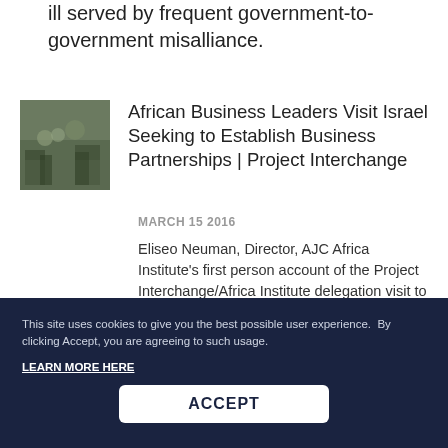ill served by frequent government-to-government misalliance.
African Business Leaders Visit Israel Seeking to Establish Business Partnerships | Project Interchange
MARCH 15 2016
Eliseo Neuman, Director, AJC Africa Institute’s first person account of the Project Interchange/Africa Institute delegation visit to Israel.
This site uses cookies to give you the best possible user experience.  By clicking Accept, you are agreeing to such usage.
LEARN MORE HERE
ACCEPT